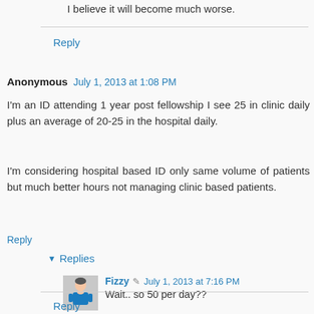I believe it will become much worse.
Reply
Anonymous July 1, 2013 at 1:08 PM
I'm an ID attending 1 year post fellowship I see 25 in clinic daily plus an average of 20-25 in the hospital daily.
I'm considering hospital based ID only same volume of patients but much better hours not managing clinic based patients.
Reply
Replies
Fizzy July 1, 2013 at 7:16 PM
Wait.. so 50 per day??
Reply